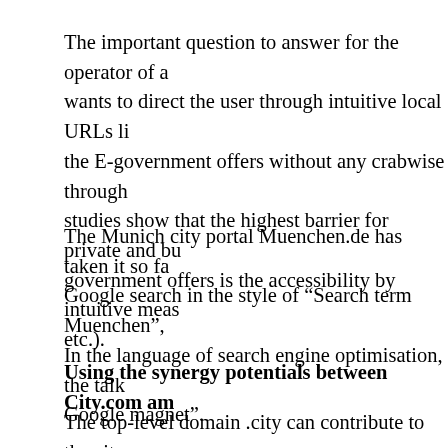The important question to answer for the operator of a wants to direct the user through intuitive local URLs li the E-government offers without any crabwise through studies show that the highest barrier for private and bu government offers is the accessibility by intuitive meas etc.).
The Munich city portal Muenchen.de has taken it so fa Google search in the style of “Search term Muenchen”, In the language of search engine optimisation, the talk Google magnet”.
Using the synergy potentials between City.com am
The top-level domain .city can contribute to the city po